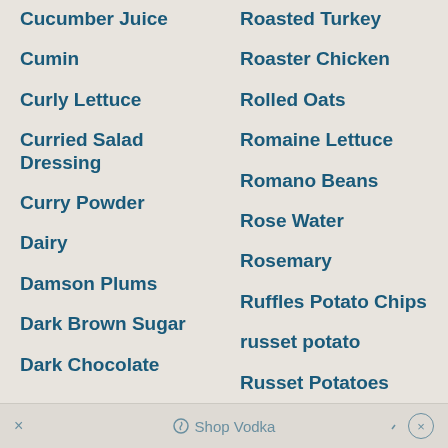Cucumber Juice
Roasted Turkey
Cumin
Roaster Chicken
Curly Lettuce
Rolled Oats
Curried Salad Dressing
Romaine Lettuce
Curry Powder
Romano Beans
Dairy
Rose Water
Damson Plums
Rosemary
Dark Brown Sugar
Ruffles Potato Chips
Dark Chocolate
russet potato
Russet Potatoes
× Shop Vodka ×